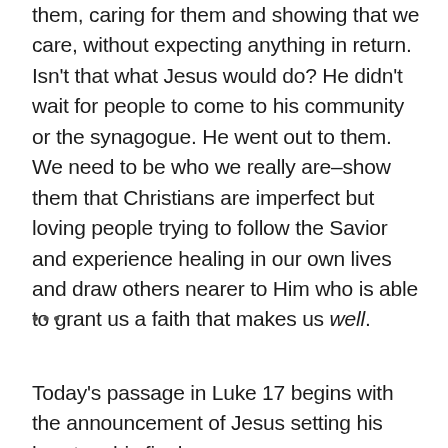them, caring for them and showing that we care, without expecting anything in return. Isn't that what Jesus would do? He didn't wait for people to come to his community or the synagogue. He went out to them. We need to be who we really are–show them that Christians are imperfect but loving people trying to follow the Savior and experience healing in our own lives and draw others nearer to Him who is able to grant us a faith that makes us well.
•••
Today's passage in Luke 17 begins with the announcement of Jesus setting his heart on his final